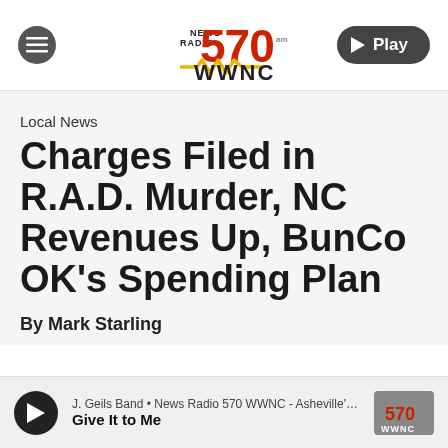News Radio 570 WWNC
Local News
Charges Filed in R.A.D. Murder, NC Revenues Up, BunCo OK's Spending Plan
By Mark Starling
J. Geils Band • News Radio 570 WWNC - Asheville's N... Give It to Me